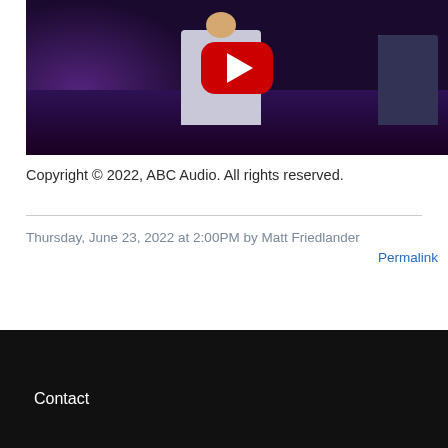[Figure (screenshot): YouTube video thumbnail showing a performer on stage with a YouTube play button overlay. Dark purple stage lighting with a guitarist visible on the right side.]
Copyright © 2022, ABC Audio. All rights reserved.
Thursday, June 23, 2022 at 2:00PM by Matt Friedlander
Permalink
Contact